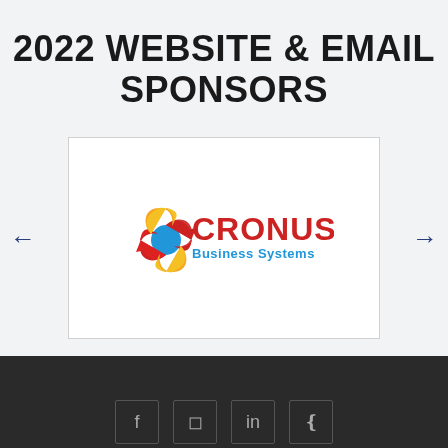2022 WEBSITE & EMAIL SPONSORS
[Figure (logo): Cronus Business Systems logo with swirling red, yellow, and blue icon and red CRONUS text with blue Business Systems subtext]
Dark footer bar with social media icons (Facebook, Instagram, LinkedIn, Twitter)